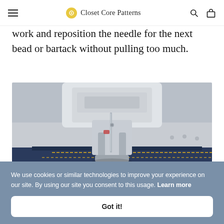Closet Core Patterns
work and reposition the needle for the next bead or bartack without pulling too much.
[Figure (photo): Close-up photo of a sewing machine presser foot stitching dark denim fabric, showing the needle area and silver metal foot on blue jeans material.]
We use cookies or similar technologies to improve your experience on our site. By using our site you consent to this usage. Learn more
Got it!